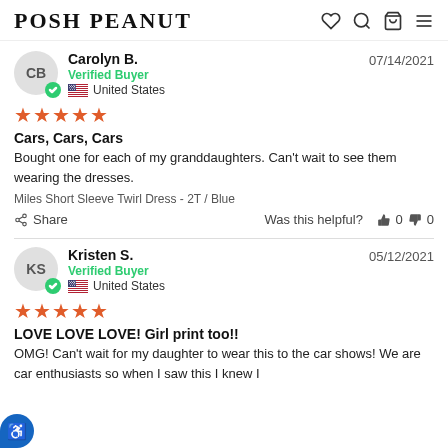POSH PEANUT
Carolyn B. — 07/14/2021 — Verified Buyer — United States
★★★★★
Cars, Cars, Cars
Bought one for each of my granddaughters. Can't wait to see them wearing the dresses.
Miles Short Sleeve Twirl Dress - 2T / Blue
Share — Was this helpful? 👍 0 👎 0
Kristen S. — 05/12/2021 — Verified Buyer — United States
★★★★★
LOVE LOVE LOVE! Girl print too!!
OMG! Can't wait for my daughter to wear this to the car shows! We are car enthusiasts so when I saw this I knew I